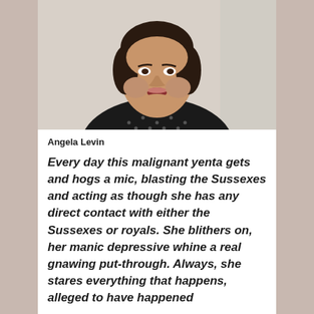[Figure (photo): Woman with short dark hair speaking, wearing dark polka dot top, video screenshot]
Angela Levin
Every day this malignant yenta gets and hogs a mic, blasting the Sussexes and acting as though she has any direct contact with either the Sussexes or royals. She blithers on, her manic depressive whine a real gnawing put-through. Always, she stares everything that happens, alleged to have happened